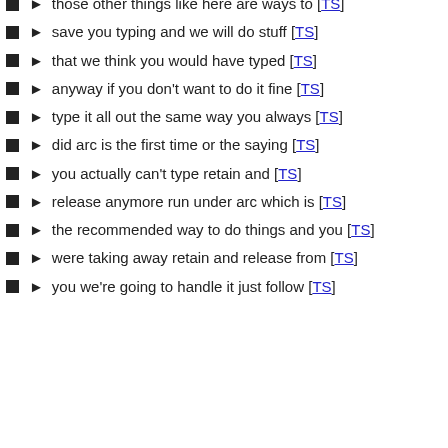those other things like here are ways to [TS]
save you typing and we will do stuff [TS]
that we think you would have typed [TS]
anyway if you don't want to do it fine [TS]
type it all out the same way you always [TS]
did arc is the first time or the saying [TS]
you actually can't type retain and [TS]
release anymore run under arc which is [TS]
the recommended way to do things and you [TS]
were taking away retain and release from [TS]
you we're going to handle it just follow [TS]